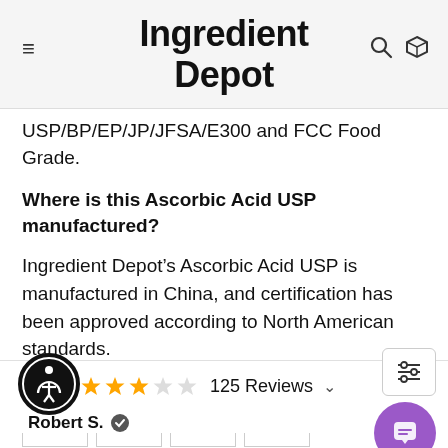Ingredient Depot
USP/BP/EP/JP/JFSA/E300 and FCC Food Grade.
Where is this Ascorbic Acid USP manufactured?
Ingredient Depot’s Ascorbic Acid USP is manufactured in China, and certification has been approved according to North American standards.
[Figure (other): Social sharing buttons: Twitter, Facebook, Pinterest, Email]
[Figure (other): Star rating: 3 stars out of 5, 125 Reviews with dropdown chevron. Accessibility icon circle on left. Filter and chat buttons on right.]
Robert S. ✓